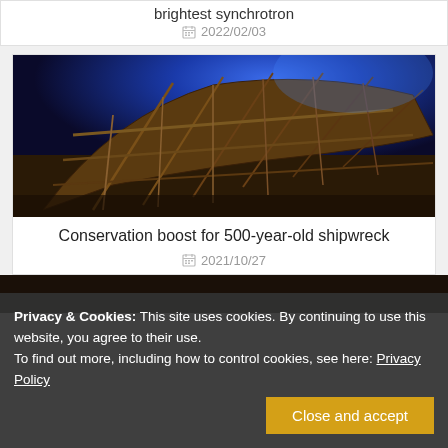brightest synchrotron
2022/02/03
[Figure (photo): Interior of a 500-year-old shipwreck with exposed wooden ribs and beams, lit with blue light in the background]
Conservation boost for 500-year-old shipwreck
2021/10/27
Privacy & Cookies: This site uses cookies. By continuing to use this website, you agree to their use.
To find out more, including how to control cookies, see here: Privacy Policy
Close and accept